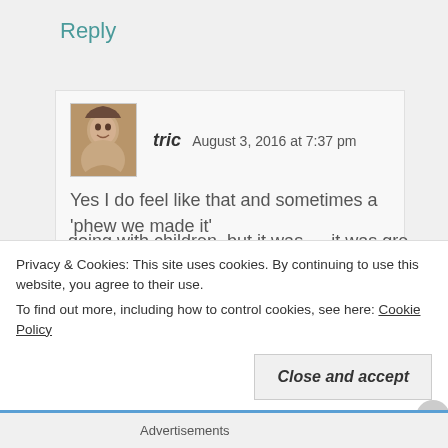Reply
tric   August 3, 2016 at 7:37 pm
Yes I do feel like that and sometimes a ‘phew we made it’
I hope you have a wonderful vacation. My other half and I recently returned from a holiday alone for the first time in years. It was very different to
Privacy & Cookies: This site uses cookies. By continuing to use this website, you agree to their use.
To find out more, including how to control cookies, see here: Cookie Policy
Close and accept
Advertisements